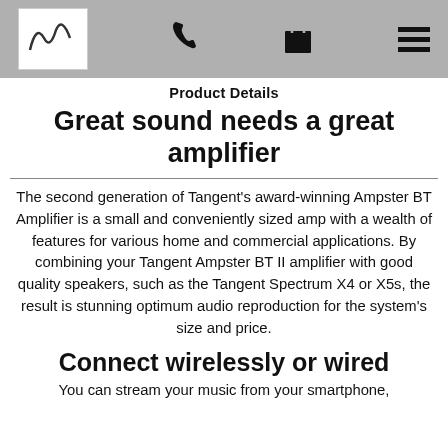[Figure (screenshot): Navigation bar with logo (sine wave in white box), phone icon, shopping bag icon, and hamburger menu icon on grey background]
Product Details
Great sound needs a great amplifier
The second generation of Tangent's award-winning Ampster BT Amplifier is a small and conveniently sized amp with a wealth of features for various home and commercial applications. By combining your Tangent Ampster BT II amplifier with good quality speakers, such as the Tangent Spectrum X4 or X5s, the result is stunning optimum audio reproduction for the system's size and price.
Connect wirelessly or wired
You can stream your music from your smartphone,